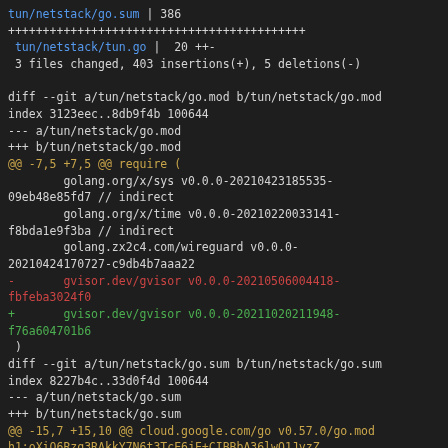tun/netstack/go.sum | 386
+++++++++++++++++++++++++++++++++++++++++++
 tun/netstack/tun.go |  20 ++-
 3 files changed, 403 insertions(+), 5 deletions(-)

diff --git a/tun/netstack/go.mod b/tun/netstack/go.mod
index 3123eec..8db9f4b 100644
--- a/tun/netstack/go.mod
+++ b/tun/netstack/go.mod
@@ -7,5 +7,5 @@ require (
        golang.org/x/sys v0.0.0-20210423185535-09eb48e85fd7 // indirect
        golang.org/x/time v0.0.0-20210220033141-f8bda1e9f3ba // indirect
        golang.zx2c4.com/wireguard v0.0.0-20210424170727-c9db4b7aaa22
-       gvisor.dev/gvisor v0.0.0-20210506004418-fbfeba3024f0
+       gvisor.dev/gvisor v0.0.0-20211020211948-f76a604701b6
 )
diff --git a/tun/netstack/go.sum b/tun/netstack/go.sum
index 8227b4c..33d0f4d 100644
--- a/tun/netstack/go.sum
+++ b/tun/netstack/go.sum
@@ -15,7 +15,10 @@ cloud.google.com/go v0.57.0/go.mod
h1:oXiQ6Rzq3RAkkY7N6t3TcE6jE+CIBBbA36lwQ1JyzZ
 cloud.google.com/go v0.62.0/go.mod
h1:jmCYTdRCQuc1PHIIJ/maLInMho30T/Y0M4hTdTShOYc=
 cloud.google.com/go v0.65.0/go.mod